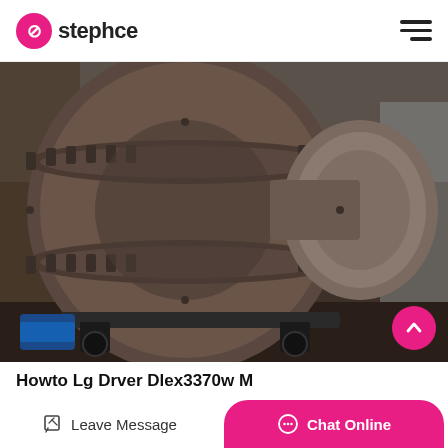stephce
[Figure (photo): Large industrial rotary dryer drum made of dark steel, photographed outdoors. Two large cylindrical sections visible with flanged rings, mounted on a wheeled chassis with a blue electric motor visible at the bottom left.]
Howto Lg Drver Dlex3370w M…
Leave Message
Chat Online